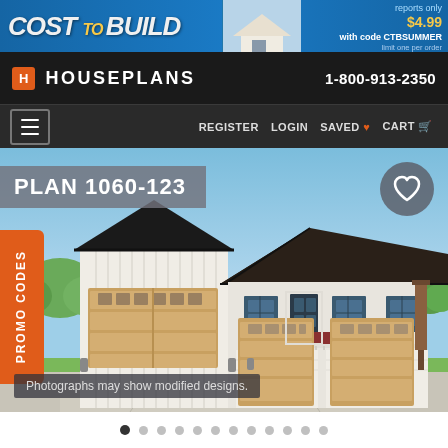[Figure (screenshot): Banner advertisement for Cost to Build reports, showing blue background with yellow/white text reading 'COST TO BUILD', house image, and offer text 'reports only $4.99 with code CTBSUMMER limit one per order']
HOUSEPLANS   1-800-913-2350
REGISTER  LOGIN  SAVED  CART
[Figure (photo): Exterior rendering of house Plan 1060-123, a farmhouse-style home with three-car garage, white board and batten siding, dark roof, upper level balcony with outdoor seating, and wood garage doors. Tag reads 'PROMO CODES' on left side. Caption: 'Photographs may show modified designs.']
Photographs may show modified designs.